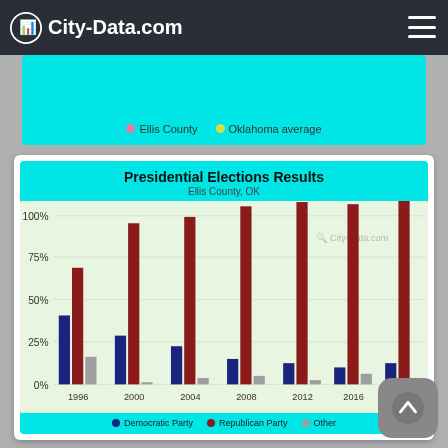City-Data.com
[Figure (bar-chart): Presidential Elections Results]